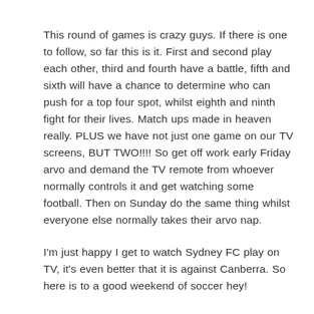This round of games is crazy guys. If there is one to follow, so far this is it. First and second play each other, third and fourth have a battle, fifth and sixth will have a chance to determine who can push for a top four spot, whilst eighth and ninth fight for their lives. Match ups made in heaven really. PLUS we have not just one game on our TV screens, BUT TWO!!!! So get off work early Friday arvo and demand the TV remote from whoever normally controls it and get watching some football. Then on Sunday do the same thing whilst everyone else normally takes their arvo nap.
I'm just happy I get to watch Sydney FC play on TV, it's even better that it is against Canberra. So here is to a good weekend of soccer hey!